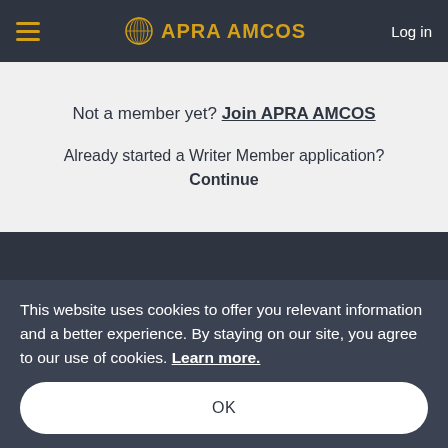APRA AMCOS  Log in
Not a member yet? Join APRA AMCOS
Already started a Writer Member application? Continue
This website uses cookies to offer you relevant information and a better experience. By staying on our site, you agree to our use of cookies. Learn more.
OK